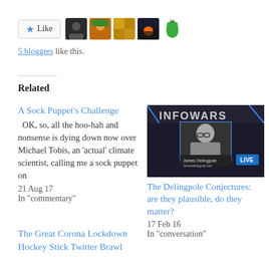[Figure (other): Like button with star icon and five blogger avatar thumbnails]
5 bloggers like this.
Related
A Sock Puppet's Challenge
OK, so, all the hoo-hah and nonsense is dying down now over Michael Tobis, an 'actual' climate scientist, calling me a sock puppet on
21 Aug 17
In "commentary"
[Figure (screenshot): Infowars TV show screenshot with James Delingpole shown LIVE]
The Delingpole Conjectures: are they plausible, do they matter?
17 Feb 16
In "conversation"
The Great Corona Lockdown Hockey Stick Twitter Brawl